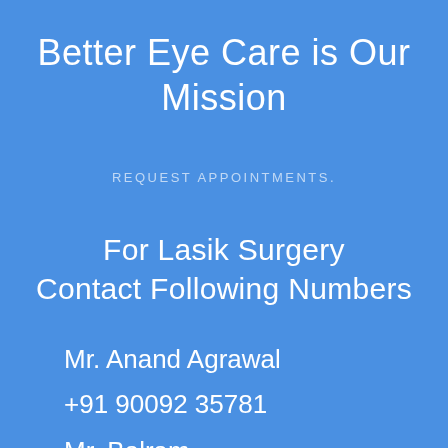Better Eye Care is Our Mission
REQUEST APPOINTMENTS.
For Lasik Surgery Contact Following Numbers
Mr. Anand Agrawal
+91 90092 35781
Mr. Balram